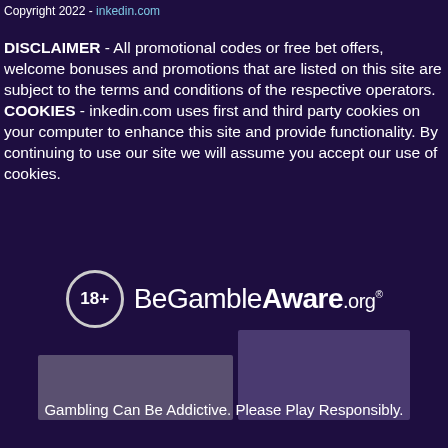Copyright 2022 - inkedin.com
DISCLAIMER - All promotional codes or free bet offers, welcome bonuses and promotions that are listed on this site are subject to the terms and conditions of the respective operators. COOKIES - inkedin.com uses first and third party cookies on your computer to enhance this site and provide functionality. By continuing to use our site we will assume you accept our use of cookies.
[Figure (logo): BeGambleAware.org logo with 18+ circle badge]
[Figure (photo): Blurred/placeholder image area with two overlapping rectangular sections in purple tones]
Gambling Can Be Addictive. Please Play Responsibly.